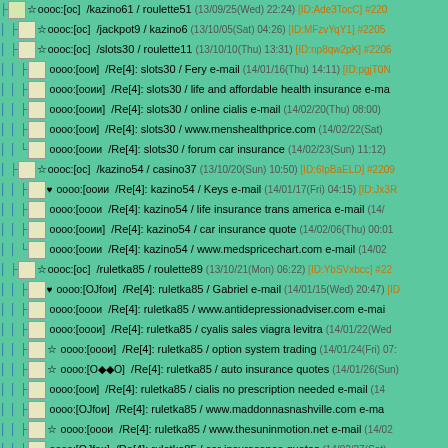■☆ ооос:[oc] /kazino61 / roulette51 (13/09/25(Wed) 22:24) [ID:Ade3TocC] #220
■☆ ооос:[oc] /jackpot9 / kazino6 (13/10/05(Sat) 04:26) [ID:MFzvYqY1] #2205
■☆ ооос:[oc] /slots30 / roulette11 (13/10/10(Thu) 13:31) [ID:np8qw2pK] #2206
├■ оооо:[оои] /Re[4]: slots30 / Fery e-mail (14/01/16(Thu) 14:11) [ID:pgjT0N
├■ оооо:[ооии] /Re[4]: slots30 / life and affordable health insurance e-ma
├■ оооо:[ооии] /Re[4]: slots30 / online cialis e-mail (14/02/20(Thu) 08:00)
├■ оооо:[оои] /Re[4]: slots30 / www.menshealthprice.com (14/02/22(Sat)
└■ оооо:[ооии /Re[4]: slots30 / forum car insurance (14/02/23(Sun) 11:12)
■☆ ооос:[oc] /kazino54 / casino37 (13/10/20(Sun) 10:50) [ID:6IpBaELD] #2209
├■♥ оооо:[ооии /Re[4]: kazino54 / Keys e-mail (14/01/17(Fri) 04:15) [ID:Jx3R
├■ оооо:[ооои /Re[4]: kazino54 / life insurance trans america e-mail (14/
├■ оооо:[ооии] /Re[4]: kazino54 / car insurance quote (14/02/06(Thu) 00:01
└■ оооо:[ооии /Re[4]: kazino54 / www.medspricechart.com e-mail (14/02
■☆ ооос:[oc] /ruletka85 / roulette89 (13/10/21(Mon) 06:22) [ID:YbSVxbcc] #22
├■♥ оооо:[ОЈfои] /Re[4]: ruletka85 / Gabriel e-mail (14/01/15(Wed) 20:47) [ID
├■ оооо:[ооои /Re[4]: ruletka85 / www.antidepressionadviser.com e-mai
├■ оооо:[ооои] /Re[4]: ruletka85 / cyalis sales viagra levitra (14/01/22(Wed
├■☆ оооо:[ооои] /Re[4]: ruletka85 / option system trading (14/01/24(Fri) 07:
├■☆ оооо:[О◆◆О] /Re[4]: ruletka85 / auto insurance quotes (14/01/26(Sun)
├■ оооо:[оои] /Re[4]: ruletka85 / cialis no prescription needed e-mail (14
├■ оооо:[ОЈfои] /Re[4]: ruletka85 / www.maddonnasnashville.com e-ma
├■☆ оооо:[ооои /Re[4]: ruletka85 / www.thesuninmotion.net e-mail (14/02
├■ оооо:[ОЈfои] /Re[4]: ruletka85 / car insurasance quotes (14/02/27(Sat)